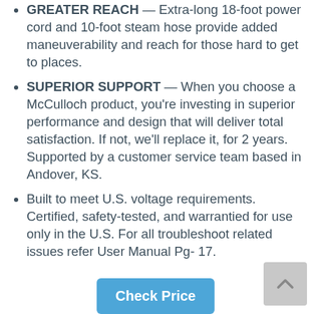GREATER REACH — Extra-long 18-foot power cord and 10-foot steam hose provide added maneuverability and reach for those hard to get to places.
SUPERIOR SUPPORT — When you choose a McCulloch product, you're investing in superior performance and design that will deliver total satisfaction. If not, we'll replace it, for 2 years. Supported by a customer service team based in Andover, KS.
Built to meet U.S. voltage requirements. Certified, safety-tested, and warrantied for use only in the U.S. For all troubleshoot related issues refer User Manual Pg- 17.